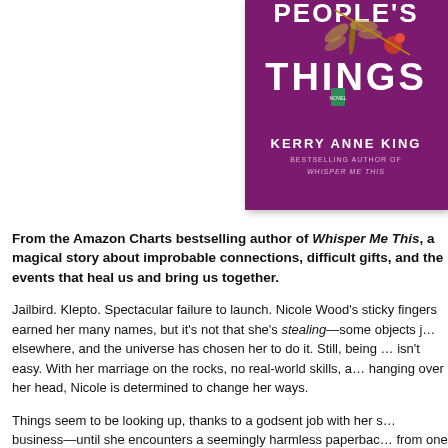[Figure (illustration): Book cover for 'People's Things' by Kerry Anne King. Purple/magenta background with dragonfly and charm decorations. White bold text reads 'THINGS' and 'KERRY ANNE KING'. Subtitle reads 'BESTSELLING AUTHOR OF WHISPER ME THIS'.]
From the Amazon Charts bestselling author of Whisper Me This, a magical story about improbable connections, difficult gifts, and the events that heal us and bring us together.
Jailbird. Klepto. Spectacular failure to launch. Nicole Wood's sticky fingers earned her many names, but it's not that she's stealing—some objects just need to be elsewhere, and the universe has chosen her to do it. Still, being a cosmic mail carrier isn't easy. With her marriage on the rocks, no real-world skills, and a felony charge hanging over her head, Nicole is determined to change her ways.
Things seem to be looking up, thanks to a godsent job with her sister's cleaning business—until she encounters a seemingly harmless paperback that must be moved from one client's home to another's. Nicole hopes no one will no